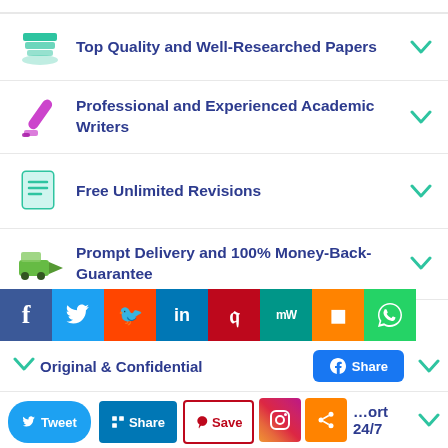Top Quality and Well-Researched Papers
Professional and Experienced Academic Writers
Free Unlimited Revisions
Prompt Delivery and 100% Money-Back-Guarantee
Original & Confidential
Customer Support 24/7